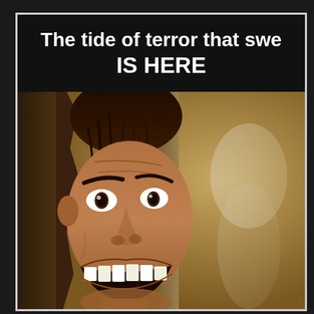The tide of terror that swept America... IS HERE
[Figure (photo): Movie poster image of a man grinning maniacally while peering through a broken door, from The Shining. The figure has dark hair, wild eyes, and bared teeth. A ghostly figure is visible in the background to the right.]